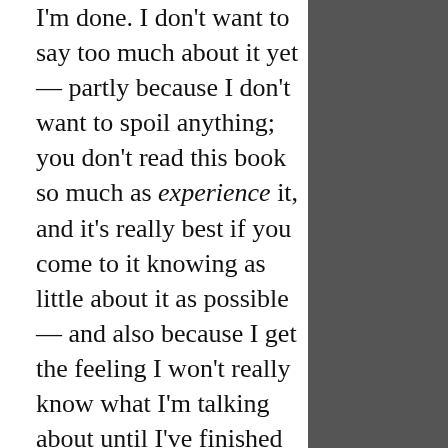I'm done. I don't want to say too much about it yet — partly because I don't want to spoil anything; you don't read this book so much as experience it, and it's really best if you come to it knowing as little about it as possible — and also because I get the feeling I won't really know what I'm talking about until I've finished it. Anyway, it's good. Scary. Scary good.
My patreon campaign isn't going so well, which is discouraging, because to be honest this is kind of my last-ditch effort at being an indie author. It's the last thing I can do and...